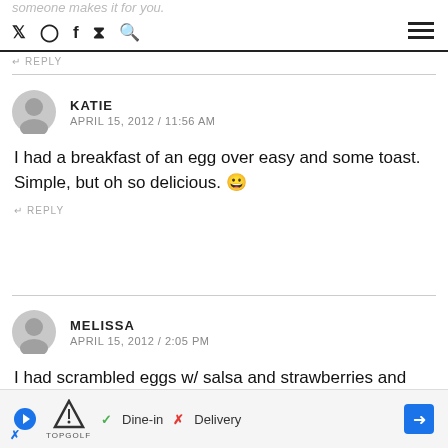someone makes it for you.
↩ REPLY
KATIE
APRIL 15, 2012 / 11:56 AM
I had a breakfast of an egg over easy and some toast. Simple, but oh so delicious. 😀
↩ REPLY
MELISSA
APRIL 15, 2012 / 2:05 PM
I had scrambled eggs w/ salsa and strawberries and grapes.
↩ REPLY
[Figure (other): Advertisement banner for TopGolf showing Dine-in and Delivery options with a navigation arrow]